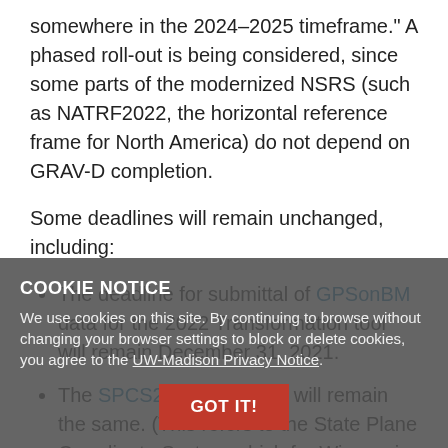somewhere in the 2024–2025 timeframe." A phased roll-out is being considered, since some parts of the modernized NSRS (such as NATRF2022, the horizontal reference frame for North America) do not depend on GRAV-D completion.
Some deadlines will remain unchanged, including:
The deadline for submittal of GPSonBM data for the 2022 Transformation tool will remain December 31, 2021.
The SPCS2022 deadlines will remain the same. (This refers to the State Plane Coordinate System which for Wisconsin includes a new statewide single-zone layer and an updated version of WISCRS).
Deprecation of the US Survey Foot on December 31, 2022 will remain unchanged.
COOKIE NOTICE
We use cookies on this site. By continuing to browse without changing your browser settings to block or delete cookies, you agree to the UW-Madison Privacy Notice.